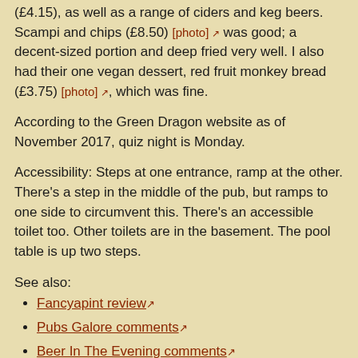(£4.15), as well as a range of ciders and keg beers. Scampi and chips (£8.50) [photo] was good; a decent-sized portion and deep fried very well. I also had their one vegan dessert, red fruit monkey bread (£3.75) [photo], which was fine.
According to the Green Dragon website as of November 2017, quiz night is Monday.
Accessibility: Steps at one entrance, ramp at the other. There's a step in the middle of the pub, but ramps to one side to circumvent this. There's an accessible toilet too. Other toilets are in the basement. The pool table is up two steps.
See also:
Fancyapint review
Pubs Galore comments
Beer In The Evening comments